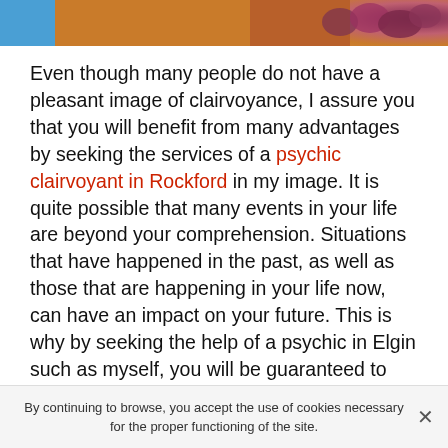[Figure (photo): Decorative photo strip showing flowers and warm-toned background at the top of the page]
Even though many people do not have a pleasant image of clairvoyance, I assure you that you will benefit from many advantages by seeking the services of a psychic clairvoyant in Rockford in my image. It is quite possible that many events in your life are beyond your comprehension. Situations that have happened in the past, as well as those that are happening in your life now, can have an impact on your future. This is why by seeking the help of a psychic in Elgin such as myself, you will be guaranteed to find peace of mind in all aspects of your life in order to identify the various obscure or misunderstood situations you are going through.

It is not easy to find a trusted psychic in Elgin. Many of them today are not at all serious and take advantage of
By continuing to browse, you accept the use of cookies necessary for the proper functioning of the site.